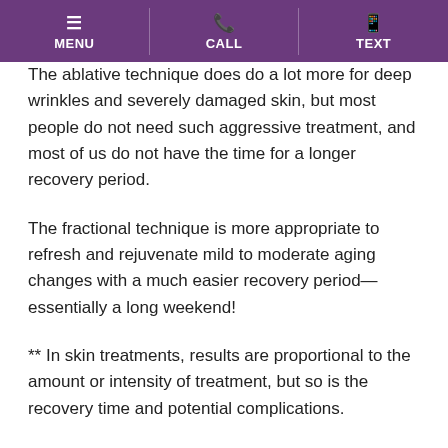MENU | CALL | TEXT
The ablative technique does do a lot more for deep wrinkles and severely damaged skin, but most people do not need such aggressive treatment, and most of us do not have the time for a longer recovery period.
The fractional technique is more appropriate to refresh and rejuvenate mild to moderate aging changes with a much easier recovery period—essentially a long weekend!
** In skin treatments, results are proportional to the amount or intensity of treatment, but so is the recovery time and potential complications.
Mild and non-invasive therapies (use of skin care products, mild peels and IPL) produce smaller